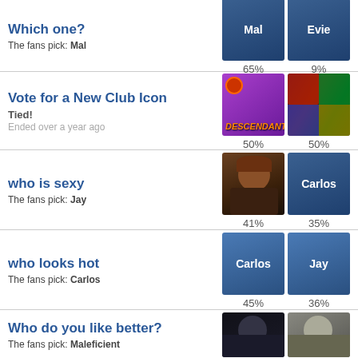Which one?
The fans pick: Mal
Mal 65%, Evie 9%
Vote for a New Club Icon
Tied!
Ended over a year ago
50% 50%
who is sexy
The fans pick: Jay
41% 35%
who looks hot
The fans pick: Carlos
45% 36%
Who do you like better?
The fans pick: Maleficient